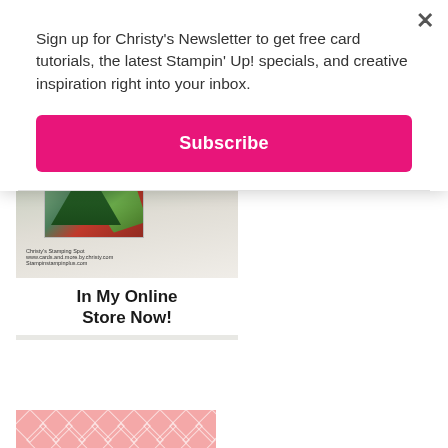Sign up for Christy's Newsletter to get free card tutorials, the latest Stampin' Up! specials, and creative inspiration right into your inbox.
Subscribe
[Figure (photo): Stampin Up catalog image showing a Christmas card with tree design, with text 'In My Online Store Now!' overlaid at the bottom]
[Figure (illustration): Pink diamond/lattice pattern strip at the bottom of the page]